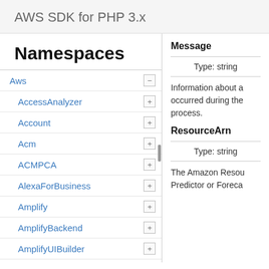AWS SDK for PHP 3.x
Namespaces
Aws
AccessAnalyzer
Account
Acm
ACMPCA
AlexaForBusiness
Amplify
AmplifyBackend
AmplifyUIBuilder
Api
ApiGateway
ApiGatewayManagementApi
Message
Type: string
Information about a occurred during the process.
ResourceArn
Type: string
The Amazon Resou Predictor or Foreca